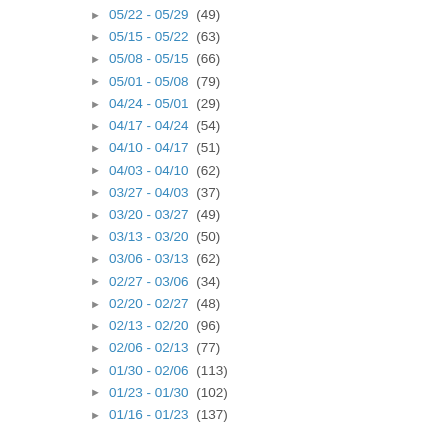05/22 - 05/29 (49)
05/15 - 05/22 (63)
05/08 - 05/15 (66)
05/01 - 05/08 (79)
04/24 - 05/01 (29)
04/17 - 04/24 (54)
04/10 - 04/17 (51)
04/03 - 04/10 (62)
03/27 - 04/03 (37)
03/20 - 03/27 (49)
03/13 - 03/20 (50)
03/06 - 03/13 (62)
02/27 - 03/06 (34)
02/20 - 02/27 (48)
02/13 - 02/20 (96)
02/06 - 02/13 (77)
01/30 - 02/06 (113)
01/23 - 01/30 (102)
01/16 - 01/23 (137)